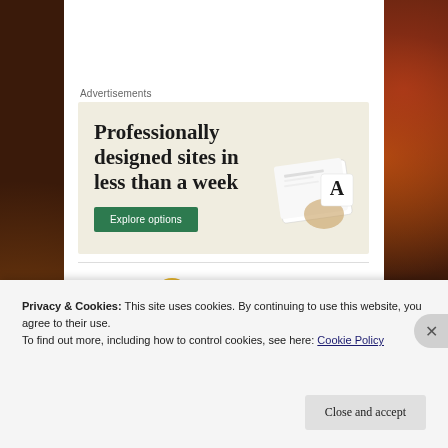Advertisements
[Figure (illustration): Advertisement banner with cream/beige background showing headline 'Professionally designed sites in less than a week', a green 'Explore options' button, and a mock device image on the right]
Privacy & Cookies: This site uses cookies. By continuing to use this website, you agree to their use.
To find out more, including how to control cookies, see here: Cookie Policy
Close and accept